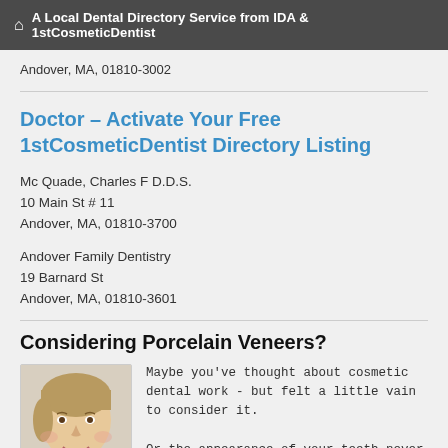A Local Dental Directory Service from IDA & 1stCosmeticDentist
Andover, MA, 01810-3002
Doctor - Activate Your Free 1stCosmeticDentist Directory Listing
Mc Quade, Charles F D.D.S.
10 Main St # 11
Andover, MA, 01810-3700
Andover Family Dentistry
19 Barnard St
Andover, MA, 01810-3601
Considering Porcelain Veneers?
[Figure (photo): Smiling woman with short blonde hair]
Maybe you've thought about cosmetic dental work - but felt a little vain to consider it.

Or the appearance of your teeth never bothered you much, because your dental health is pretty